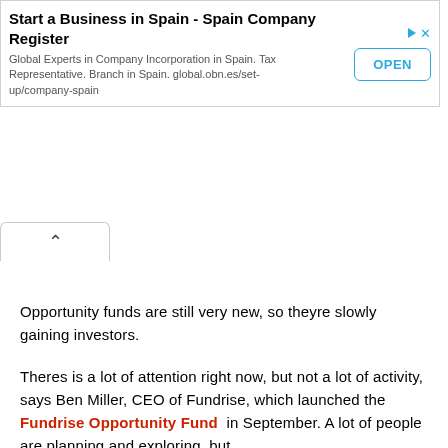[Figure (other): Advertisement banner: 'Start a Business in Spain - Spain Company Register. Global Experts in Company Incorporation in Spain. Tax Representative. Branch in Spain. global.obn.es/set-up/company-spain' with an OPEN button]
Opportunity funds are still very new, so theyre slowly gaining investors.
Theres is a lot of attention right now, but not a lot of activity, says Ben Miller, CEO of Fundrise, which launched the Fundrise Opportunity Fund in September. A lot of people are planning and exploring, but